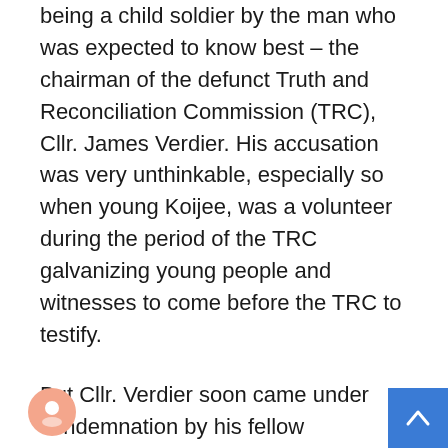being a child soldier by the man who was expected to know best – the chairman of the defunct Truth and Reconciliation Commission (TRC), Cllr. James Verdier. His accusation was very unthinkable, especially so when young Koijee, was a volunteer during the period of the TRC galvanizing young people and witnesses to come before the TRC to testify.
But Cllr. Verdier soon came under condemnation by his fellow commissioners who served the TRC.
The former Commissioners who made the clarification on the war crime allegation against Koijee include Massa Washington, John Stewart, Rev. Gerald Coleman and Rev. Dr. Cllr. Pearl Brown Bull.